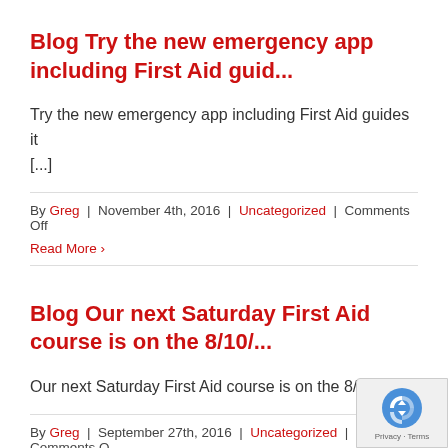Blog Try the new emergency app including First Aid guid...
Try the new emergency app including First Aid guides it [...]
By Greg | November 4th, 2016 | Uncategorized | Comments Off
Read More ›
Blog Our next Saturday First Aid course is on the 8/10/...
Our next Saturday First Aid course is on the 8/10/1
By Greg | September 27th, 2016 | Uncategorized | Comments O...
Read More ›